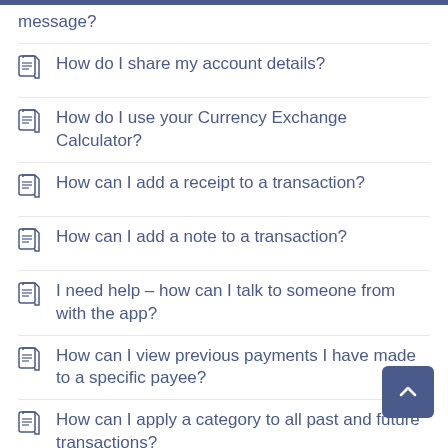message?
How do I share my account details?
How do I use your Currency Exchange Calculator?
How can I add a receipt to a transaction?
How can I add a note to a transaction?
I need help – how can I talk to someone from with the app?
How can I view previous payments I have made to a specific payee?
How can I apply a category to all past and future transactions?
How can I make a payment to a previous